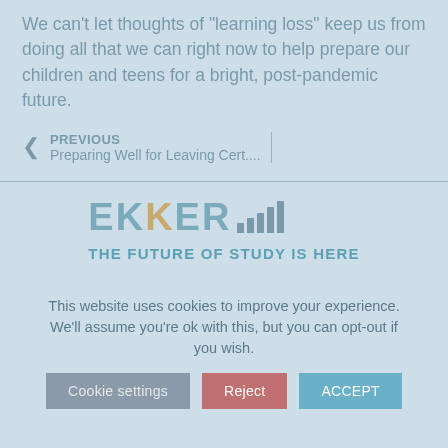We can't let thoughts of "learning loss" keep us from doing all that we can right now to help prepare our children and teens for a bright, post-pandemic future.
PREVIOUS
Preparing Well for Leaving Cert....
[Figure (logo): EKKER logo with bar chart icon and tagline THE FUTURE OF STUDY IS HERE]
This website uses cookies to improve your experience. We'll assume you're ok with this, but you can opt-out if you wish.